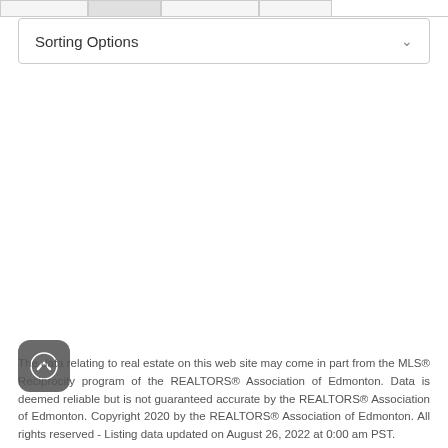Sorting Options
The data relating to real estate on this web site may come in part from the MLS® Reciprocity program of the REALTORS® Association of Edmonton. Data is deemed reliable but is not guaranteed accurate by the REALTORS® Association of Edmonton. Copyright 2020 by the REALTORS® Association of Edmonton. All rights reserved - Listing data updated on August 26, 2022 at 0:00 am PST.